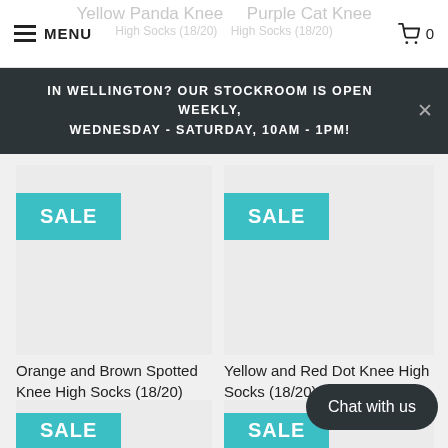MENU | Cart 0
IN WELLINGTON? OUR STOCKROOM IS OPEN WEEKLY, WEDNESDAY - SATURDAY, 10AM - 1PM!
[Figure (photo): Product image placeholder for Orange and Brown Spotted Knee High Socks with SALE badge]
Orange and Brown Spotted Knee High Socks (18/20)
$3.00  $14.00
[Figure (photo): Product image placeholder for Yellow and Red Dot Knee High Socks with SALE badge]
Yellow and Red Dot Knee High Socks (18/20)
$3.00  $14.00
[Figure (photo): Partial product image with SALE badge at bottom of page]
[Figure (photo): Partial product image with SALE badge at bottom of page]